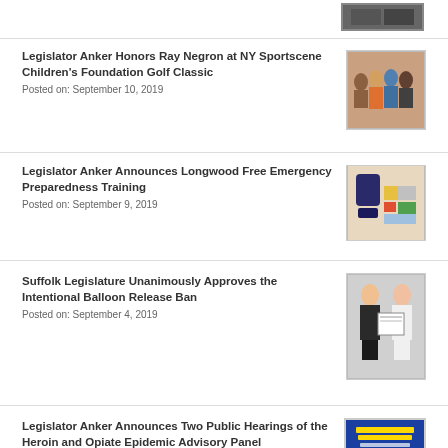[Figure (photo): Black and white photo of a building, partially visible at top]
Legislator Anker Honors Ray Negron at NY Sportscene Children's Foundation Golf Classic
Posted on: September 10, 2019
[Figure (photo): Group photo of people standing together indoors]
Legislator Anker Announces Longwood Free Emergency Preparedness Training
Posted on: September 9, 2019
[Figure (photo): Emergency preparedness kit with backpack and supplies]
Suffolk Legislature Unanimously Approves the Intentional Balloon Release Ban
Posted on: September 4, 2019
[Figure (photo): Two women posing, one holding a sign or poster]
Legislator Anker Announces Two Public Hearings of the Heroin and Opiate Epidemic Advisory Panel
Posted on: August 21, 2019
[Figure (photo): Blue and yellow event poster for Heroin and Opiate Epidemic advisory panel public hearings]